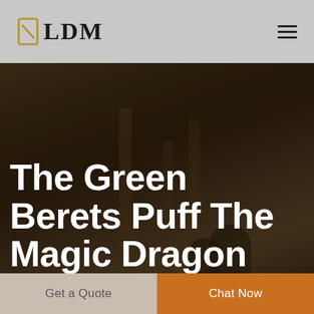LDM
The Green Berets Puff The Magic Dragon
Get a Quote
Chat Now